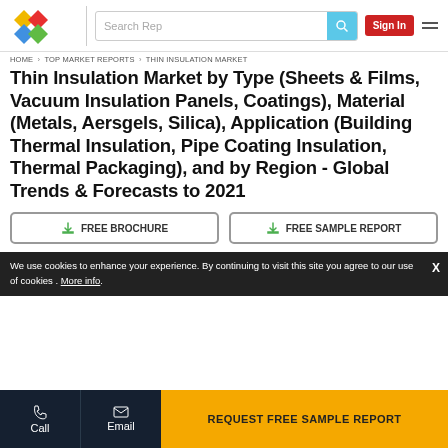Search Rep | Sign In
HOME › TOP MARKET REPORTS › THIN INSULATION MARKET
Thin Insulation Market by Type (Sheets & Films, Vacuum Insulation Panels, Coatings), Material (Metals, Aersgels, Silica), Application (Building Thermal Insulation, Pipe Coating Insulation, Thermal Packaging), and by Region - Global Trends & Forecasts to 2021
FREE BROCHURE
FREE SAMPLE REPORT
We use cookies to enhance your experience. By continuing to visit this site you agree to our use of cookies . More info.
Call | Email | REQUEST FREE SAMPLE REPORT